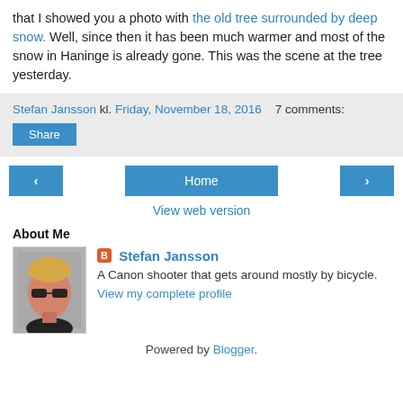that I showed you a photo with the old tree surrounded by deep snow. Well, since then it has been much warmer and most of the snow in Haninge is already gone. This was the scene at the tree yesterday.
Stefan Jansson kl. Friday, November 18, 2016   7 comments:
Share
‹  Home  ›
View web version
About Me
[Figure (illustration): Portrait illustration of a person with sunglasses and reddish skin tone, blonde hair, gray background]
Stefan Jansson
A Canon shooter that gets around mostly by bicycle.
View my complete profile
Powered by Blogger.